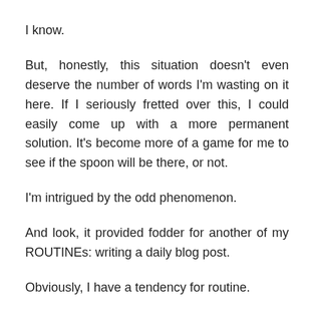I know.
But, honestly, this situation doesn't even deserve the number of words I'm wasting on it here. If I seriously fretted over this, I could easily come up with a more permanent solution. It's become more of a game for me to see if the spoon will be there, or not.
I'm intrigued by the odd phenomenon.
And look, it provided fodder for another of my ROUTINEs: writing a daily blog post.
Obviously, I have a tendency for routine.